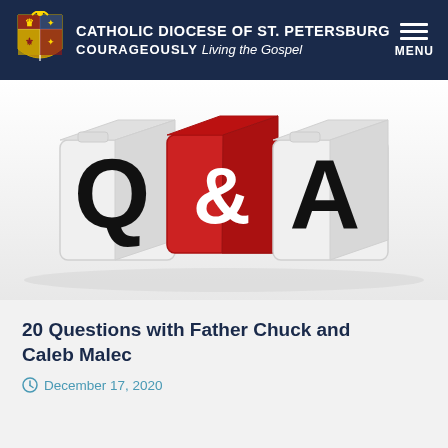CATHOLIC DIOCESE OF ST. PETERSBURG COURAGEOUSLY Living the Gospel
[Figure (photo): Three 3D dice blocks showing Q, &, and A letters. The middle block is red with a white ampersand, the outer two are white with black letters Q and A.]
20 Questions with Father Chuck and Caleb Malec
December 17, 2020